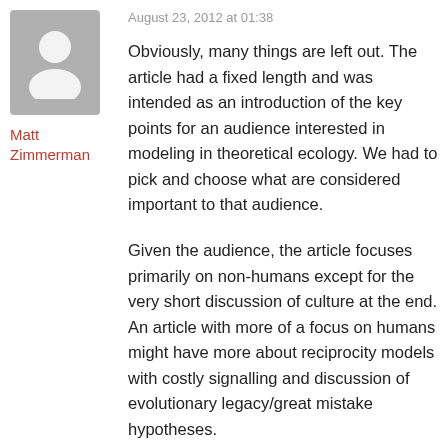[Figure (illustration): Gray avatar/placeholder profile silhouette icon on a gray rectangular background]
Matt Zimmerman
August 23, 2012 at 01:38
Obviously, many things are left out. The article had a fixed length and was intended as an introduction of the key points for an audience interested in modeling in theoretical ecology. We had to pick and choose what are considered important to that audience.
Given the audience, the article focuses primarily on non-humans except for the very short discussion of culture at the end. An article with more of a focus on humans might have more about reciprocity models with costly signalling and discussion of evolutionary legacy/great mistake hypotheses.